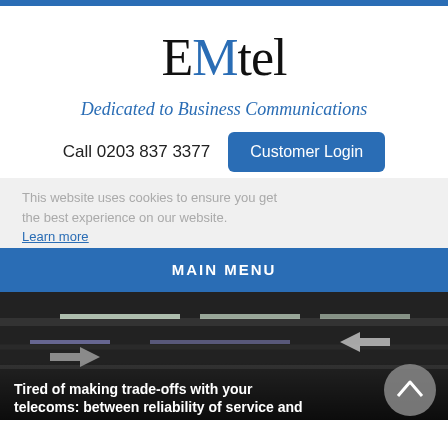[Figure (logo): EMtel logo with stylized blue M accent]
Dedicated to Business Communications
Call 0203 837 3377
Customer Login
This website uses cookies to ensure you get the best experience on our website.
Learn more
MAIN MENU
[Figure (photo): Dark photo of ceiling with illuminated signage and arrows]
Tired of making trade-offs with your telecoms: between reliability of service and